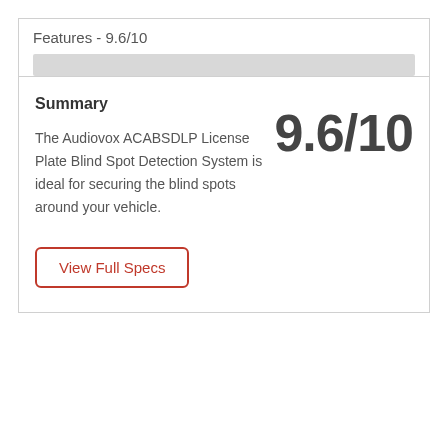Features - 9.6/10
Summary
The Audiovox ACABSDLP License Plate Blind Spot Detection System is ideal for securing the blind spots around your vehicle.
9.6/10
View Full Specs